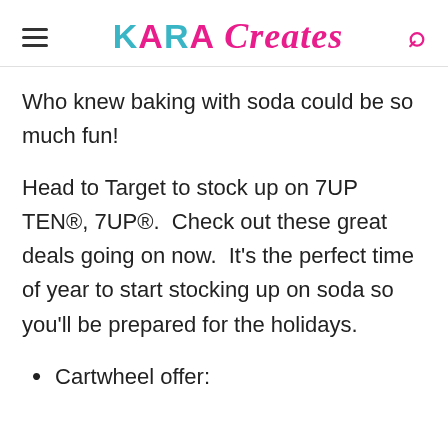KARA Creates
Who knew baking with soda could be so much fun!
Head to Target to stock up on 7UP TEN®, 7UP®.  Check out these great deals going on now.  It's the perfect time of year to start stocking up on soda so you'll be prepared for the holidays.
Cartwheel offer: